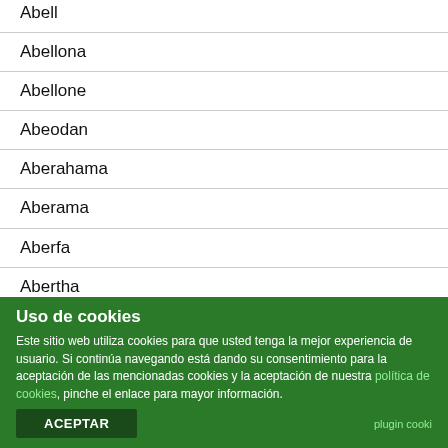Abell
Abellona
Abellone
Abeodan
Aberahama
Aberama
Aberfa
Abertha
Aberto
Abesaloma
Abez
Uso de cookies
Este sitio web utiliza cookies para que usted tenga la mejor experiencia de usuario. Si continúa navegando está dando su consentimiento para la aceptación de las mencionadas cookies y la aceptación de nuestra política de cookies, pinche el enlace para mayor información.
ACEPTAR
plugin cooki